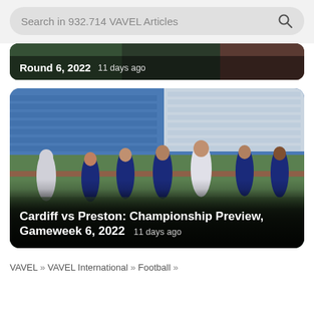Search in 932.714 VAVEL Articles
[Figure (screenshot): Partial article card showing 'Round 6, 2022  11 days ago' text overlay on a dark sports image]
[Figure (photo): Football players in blue Cardiff City kits looking dejected on a stadium pitch with blue seats in background. Text overlay reads: Cardiff vs Preston: Championship Preview, Gameweek 6, 2022  11 days ago]
VAVEL » VAVEL International » Football »